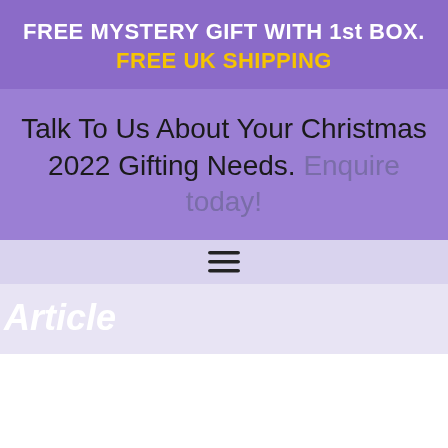FREE MYSTERY GIFT WITH 1st BOX. FREE UK SHIPPING
Talk To Us About Your Christmas 2022 Gifting Needs. Enquire today!
[Figure (other): Hamburger menu icon (three horizontal lines)]
Article